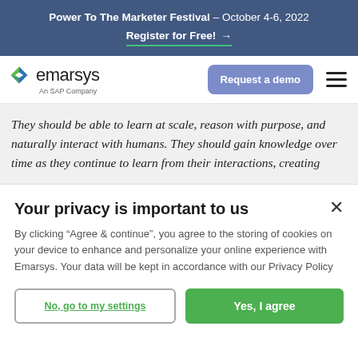Power To The Marketer Festival – October 4-6, 2022 | Register for Free! →
[Figure (logo): Emarsys logo with green/blue arrow icon and text 'An SAP Company']
They should be able to learn at scale, reason with purpose, and naturally interact with humans. They should gain knowledge over time as they continue to learn from their interactions, creating
Your privacy is important to us
By clicking "Agree & continue", you agree to the storing of cookies on your device to enhance and personalize your online experience with Emarsys. Your data will be kept in accordance with our Privacy Policy
No, go to my settings | Yes, I agree